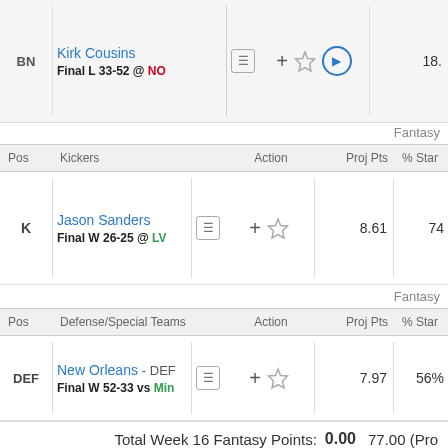| Pos | Player |  | Action | Proj Pts | % Start |
| --- | --- | --- | --- | --- | --- |
| BN | Kirk Cousins
Final L 33-52 @ NO |  |  | 18. |  |
Fantasy
| Pos | Kickers |  | Action | Proj Pts | % Star |
| --- | --- | --- | --- | --- | --- |
| K | Jason Sanders
Final W 26-25 @ LV |  |  | 8.61 | 74 |
Fantasy
| Pos | Defense/Special Teams |  | Action | Proj Pts | % Star |
| --- | --- | --- | --- | --- | --- |
| DEF | New Orleans - DEF
Final W 52-33 vs Min |  |  | 7.97 | 56% |
Total Week 16 Fantasy Points: 0.00 77.00 (Pro